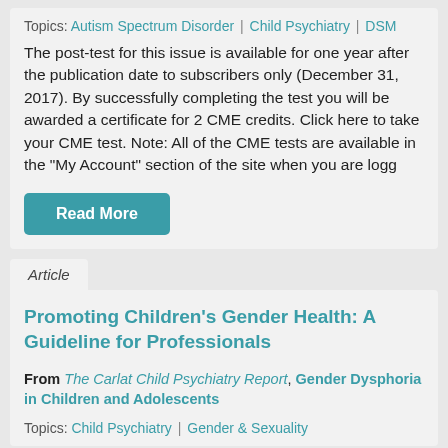Topics: Autism Spectrum Disorder | Child Psychiatry | DSM
The post-test for this issue is available for one year after the publication date to subscribers only (December 31, 2017). By successfully completing the test you will be awarded a certificate for 2 CME credits. Click here to take your CME test. Note: All of the CME tests are available in the “My Account” section of the site when you are logg
Read More
Article
Promoting Children’s Gender Health: A Guideline for Professionals
From The Carlat Child Psychiatry Report, Gender Dysphoria in Children and Adolescents
Topics: Child Psychiatry | Gender & Sexuality